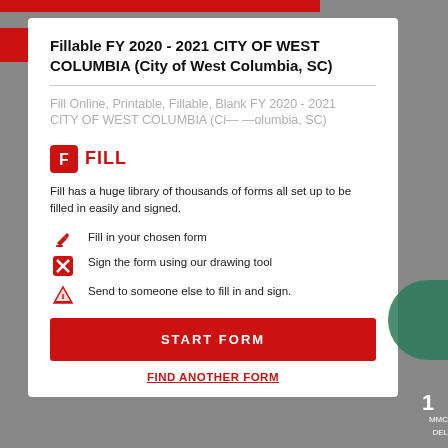Fillable FY 2020 - 2021 CITY OF WEST COLUMBIA (City of West Columbia, SC)
Fill Online, Printable, Fillable, Blank FY 2020 - 2021 CITY OF WEST COLUMBIA (City of West Columbia, SC)
[Figure (logo): Fill brand logo — red square icon with F and FILL wordmark in red]
Fill has a huge library of thousands of forms all set up to be filled in easily and signed.
Fill in your chosen form
Sign the form using our drawing tool
Send to someone else to fill in and sign.
START FORM
FIND ANOTHER FORM